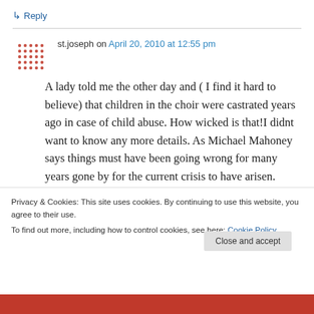↳ Reply
st.joseph on April 20, 2010 at 12:55 pm
A lady told me the other day and ( I find it hard to believe) that children in the choir were castrated years ago in case of child abuse. How wicked is that!I didnt want to know any more details. As Michael Mahoney says things must have been going wrong for many years gone by for the current crisis to have arisen.
Privacy & Cookies: This site uses cookies. By continuing to use this website, you agree to their use.
To find out more, including how to control cookies, see here: Cookie Policy
Close and accept